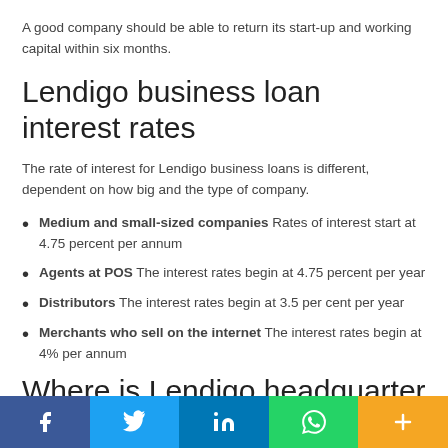A good company should be able to return its start-up and working capital within six months.
Lendigo business loan interest rates
The rate of interest for Lendigo business loans is different, dependent on how big and the type of company.
Medium and small-sized companies Rates of interest start at 4.75 percent per annum
Agents at POS The interest rates begin at 4.75 percent per year
Distributors The interest rates begin at 3.5 per cent per year
Merchants who sell on the internet The interest rates begin at 4% per annum
Where is Lendigo headquarters